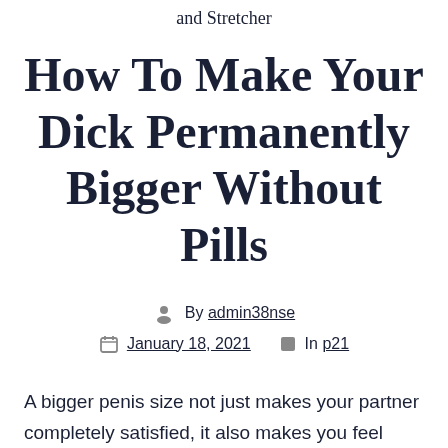and Stretcher
How To Make Your Dick Permanently Bigger Without Pills
By admin38nse
January 18, 2021  In p21
A bigger penis size not just makes your partner completely satisfied, it also makes you feel confident. Nevertheless, there are many remedies and